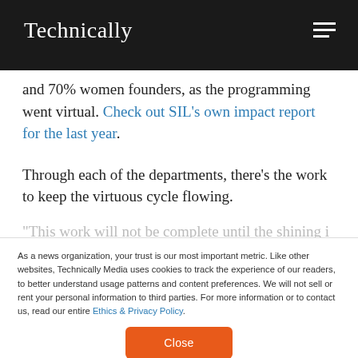Technically
and 70% women founders, as the programming went virtual. Check out SIL's own impact report for the last year.
Through each of the departments, there's the work to keep the virtuous cycle flowing.
"This work will not be complete until the shining i
As a news organization, your trust is our most important metric. Like other websites, Technically Media uses cookies to track the experience of our readers, to better understand usage patterns and content preferences. We will not sell or rent your personal information to third parties. For more information or to contact us, read our entire Ethics & Privacy Policy.